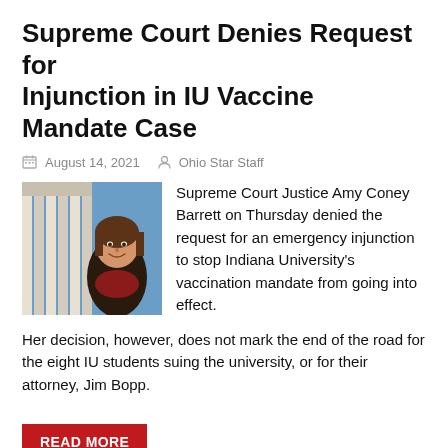Supreme Court Denies Request for Injunction in IU Vaccine Mandate Case
August 14, 2021   Ohio Star Staff
[Figure (photo): Photo of Supreme Court Justice Amy Coney Barrett smiling in front of courthouse columns]
Supreme Court Justice Amy Coney Barrett on Thursday denied the request for an emergency injunction to stop Indiana University's vaccination mandate from going into effect.
Her decision, however, does not mark the end of the road for the eight IU students suing the university, or for their attorney, Jim Bopp.
READ MORE
National, News   7th Circuit Court of Appeals, Chicago, COVID-19, Fourteenth Amendment, Indiana University-Bloomington, IU vaccine mandate case, Jim Bopp, Judge Amy Coney Barrett, Supreme Court, U.S. District Court for the Northern District of Indiana, vaccine
1 Comment